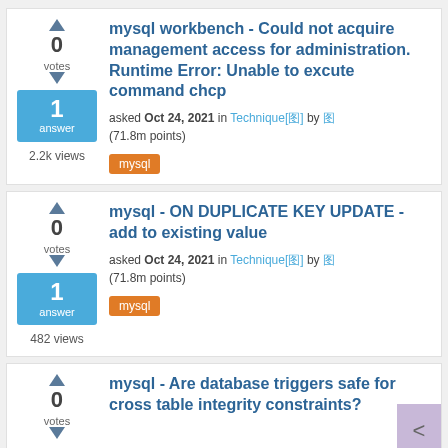mysql workbench - Could not acquire management access for administration. Runtime Error: Unable to excute command chcp
asked Oct 24, 2021 in Technique[图片] by 图片 (71.8m points)
mysql
mysql - ON DUPLICATE KEY UPDATE - add to existing value
asked Oct 24, 2021 in Technique[图片] by 图片 (71.8m points)
mysql
mysql - Are database triggers safe for cross table integrity constraints?